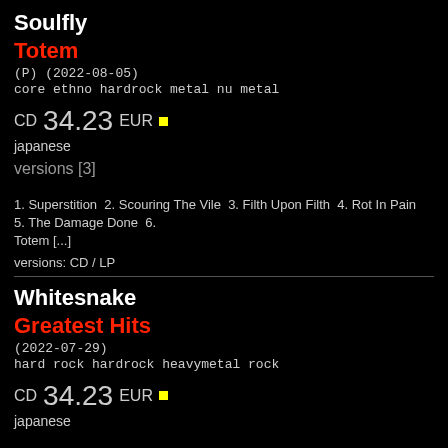Soulfly
Totem
(P) (2022-08-05)
core ethno hardrock  metal nu metal
CD 34.23 EUR  ■ japanese
versions [3]
1. Superstition  2. Scouring The Vile  3. Filth Upon Filth  4. Rot In Pain  5. The Damage Done  6. Totem [...]
versions: CD / LP
Whitesnake
Greatest Hits
(2022-07-29)
hard rock  hardrock  heavymetal  rock
CD 34.23 EUR  ■ japanese